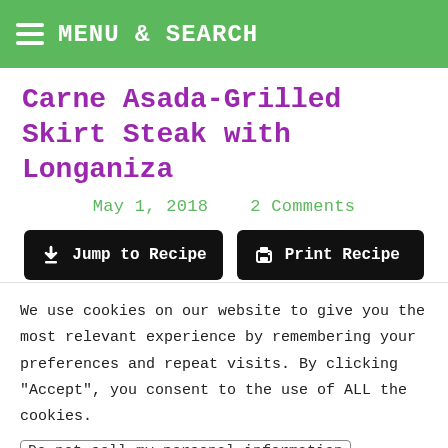MENU & SEARCH
Carne Asada-Grilled Skirt Steak with Longaniza
May 1, 2018   2 Comments
Jump to Recipe   Print Recipe
It's carne asada season! I know for many,
We use cookies on our website to give you the most relevant experience by remembering your preferences and repeat visits. By clicking "Accept", you consent to the use of ALL the cookies.
Do not sell my personal information
Cookie Settings   Accept